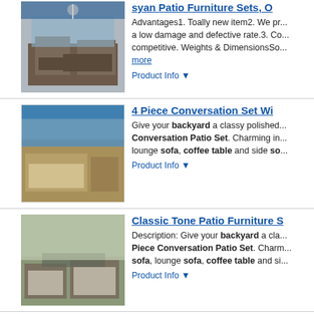[Figure (photo): Patio furniture set with sofa and coffee table on a rooftop or deck]
syan Patio Furniture Sets, O...
Advantages1. Toally new item2. We pr... a low damage and defective rate.3. Co... competitive. Weights & DimensionsSo... more
Product Info ▼
[Figure (photo): 4 piece conversation patio set near a pool]
4 Piece Conversation Set Wi...
Give your backyard a classy polished... Conversation Patio Set. Charming in... lounge sofa, coffee table and side so...
Product Info ▼
[Figure (photo): Classic tone patio furniture set with sofa and ottomans on a patio]
Classic Tone Patio Furniture S...
Description: Give your backyard a cla... Piece Conversation Patio Set. Charm... sofa, lounge sofa, coffee table and si...
Product Info ▼
[Figure (photo): Outdoor 7 piece patio furniture set with sectional sofa]
Outdoor 7 Piece Patio Furnit...
An ideal patio set for laying out on a c... guests late in the day, this sophisticate... addition to any outdoor area. ... more
Product Info ▼
[Figure (photo): Outdoor 7 piece patio furniture set (second listing)]
Outdoor 7 Piece Patio Furnit...
An ideal patio set for laying out on a c...